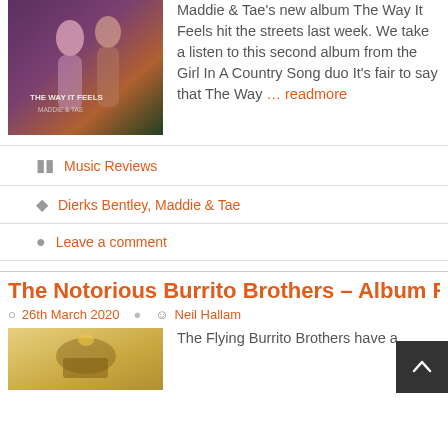[Figure (photo): Album cover for 'The Way It Feels' by Maddie & Tae, showing two women with pink/purple tones and text overlay]
Maddie & Tae's new album The Way It Feels hit the streets last week. We take a listen to this second album from the Girl In A Country Song duo It's fair to say that The Way … readmore
Music Reviews
Dierks Bentley, Maddie & Tae
Leave a comment
The Notorious Burrito Brothers – Album Re…
26th March 2020   Neil Hallam
[Figure (photo): Album cover for The Notorious Burrito Brothers with warm yellow/tan tones]
The Flying Burrito Brothers have a